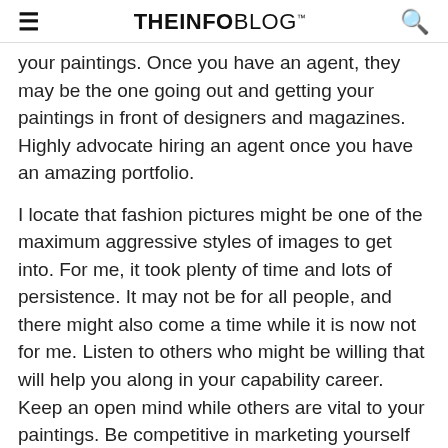≡  THEINFOBLOG™  🔍
your paintings. Once you have an agent, they may be the one going out and getting your paintings in front of designers and magazines. Highly advocate hiring an agent once you have an amazing portfolio.
I locate that fashion pictures might be one of the maximum aggressive styles of images to get into. For me, it took plenty of time and lots of persistence. It may not be for all people, and there might also come a time while it is now not for me. Listen to others who might be willing that will help you along in your capability career. Keep an open mind while others are vital to your paintings. Be competitive in marketing yourself and your paintings. In the st...